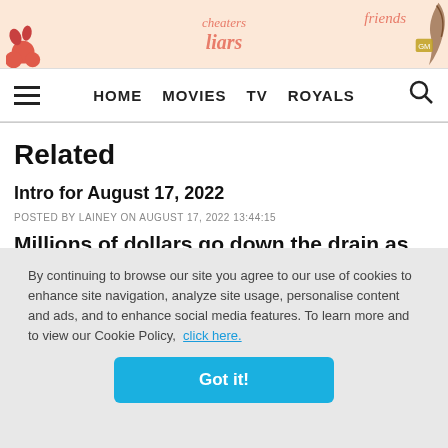[Figure (screenshot): Advertisement banner with peach/salmon background showing italic text 'cheaters', 'liars', 'friends' in coral/orange color with decorative berry and leaf illustrations]
HOME  MOVIES  TV  ROYALS
Related
Intro for August 17, 2022
POSTED BY LAINEY ON AUGUST 17, 2022 13:44:15
Millions of dollars go down the drain as Thandiwe exits Magic Mike's Last Dance after reportedly
By continuing to browse our site you agree to our use of cookies to enhance site navigation, analyze site usage, personalise content and ads, and to enhance social media features. To learn more and to view our Cookie Policy,  click here.